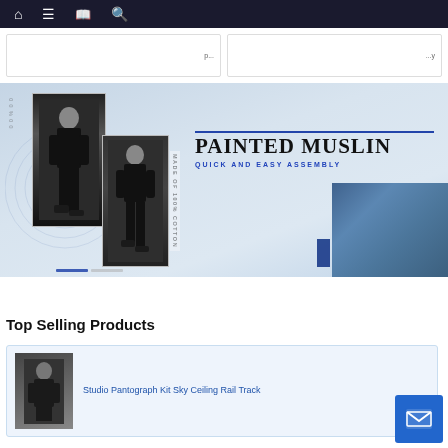Navigation bar with home, menu, book, and search icons
[Figure (screenshot): Partial top cards area with truncated text]
[Figure (photo): Painted Muslin banner advertisement. Shows two fashion photos of a person in black outfit. Text: PAINTED MUSLIN, QUICK AND EASY ASSEMBLY, MADE OF 100% COTTON. Blue panel on right with textured background.]
Top Selling Products
Studio Pantograph Kit Sky Ceiling Rail Track
[Figure (screenshot): Contact/email button in cyan/blue square at bottom right]